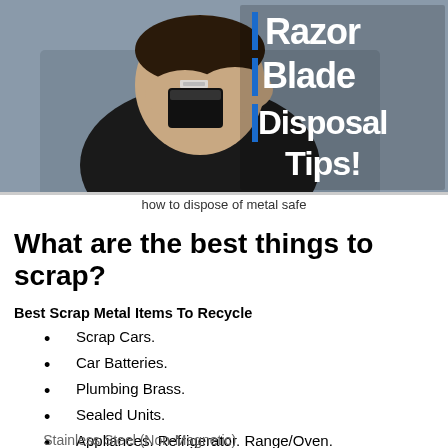[Figure (screenshot): Video thumbnail showing a man in a black t-shirt holding a black container with razor blades. Text overlay reads 'Razor Blade Disposal Tips!' in bold white letters with blue bar accents on a grey background.]
how to dispose of metal safe
What are the best things to scrap?
Best Scrap Metal Items To Recycle
Scrap Cars.
Car Batteries.
Plumbing Brass.
Sealed Units.
Appliances. Refrigerator. Range/Oven. Microwave. Washer/Dryer.
Stainless Steel (Non-Magnetic)